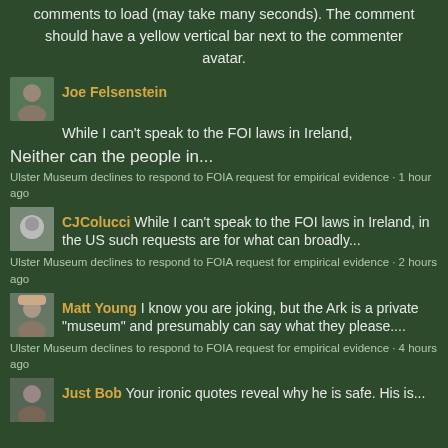comments to load (may take many seconds). The comment should have a yellow vertical bar next to the commenter avatar.
Joe Felsenstein
While I can't speak to the FOI laws in Ireland,
Neither can the people in...
Ulster Museum declines to respond to FOIA request for empirical evidence · 1 hour ago
CJColucci While I can't speak to the FOI laws in Ireland, in the US such requests are for what can broadly...
Ulster Museum declines to respond to FOIA request for empirical evidence · 2 hours ago
Matt Young I know you are joking, but the Ark is a private "museum" and presumably can say what they please....
Ulster Museum declines to respond to FOIA request for empirical evidence · 4 hours ago
Just Bob Your ironic quotes reveal why he is safe. His is...